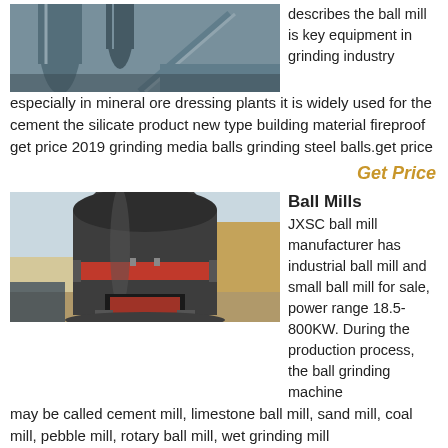[Figure (photo): Industrial grinding/ball mill equipment with pipes and machinery, overhead view]
describes the ball mill is key equipment in grinding industry especially in mineral ore dressing plants it is widely used for the cement the silicate product new type building material fireproof get price 2019 grinding media balls grinding steel balls.get price
Get Price
[Figure (photo): Large industrial ball mill machine, dark gray cylindrical body with red band, outdoors against a sandy background]
Ball Mills
JXSC ball mill manufacturer has industrial ball mill and small ball mill for sale, power range 18.5-800KW. During the production process, the ball grinding machine may be called cement mill, limestone ball mill, sand mill, coal mill, pebble mill, rotary ball mill, wet grinding mill